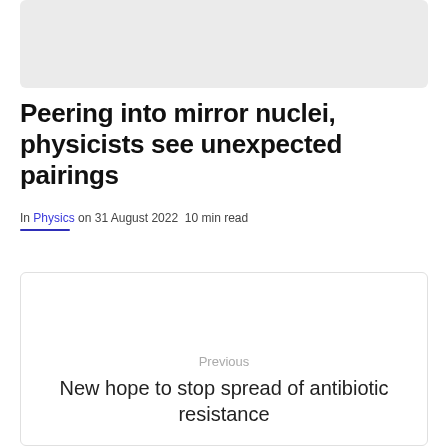[Figure (other): Gray placeholder image area at the top of the page]
Peering into mirror nuclei, physicists see unexpected pairings
In Physics on 31 August 2022  10 min read
Previous
New hope to stop spread of antibiotic resistance